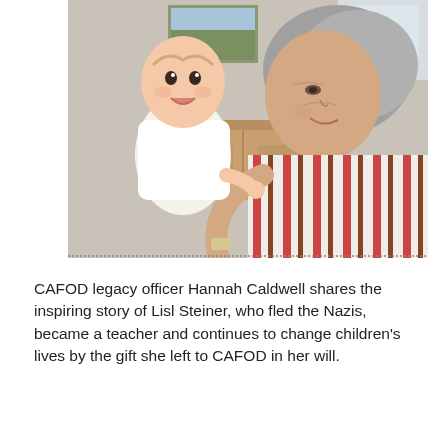[Figure (photo): An elderly woman with short grey hair wearing a striped shirt (white, red, brown stripes) holds up a smiling baby dressed in white, facing each other in a warm indoor setting. A wooden dresser and a framed painting are visible in the background.]
CAFOD legacy officer Hannah Caldwell shares the inspiring story of Lisl Steiner, who fled the Nazis, became a teacher and continues to change children's lives by the gift she left to CAFOD in her will.